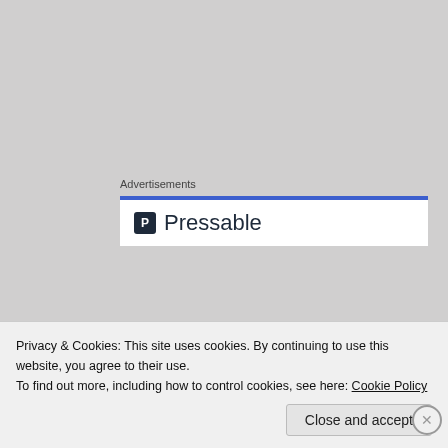Advertisements
[Figure (logo): Pressable logo — dark square icon with letter P followed by the text 'Pressable']
VERSE FOR THE DAY
Hebrews 13:3  Remember them that are in bonds, as bound with them; and them which suffer adversity, as being yourselves also in the body.
Privacy & Cookies: This site uses cookies. By continuing to use this website, you agree to their use.
To find out more, including how to control cookies, see here: Cookie Policy
Close and accept